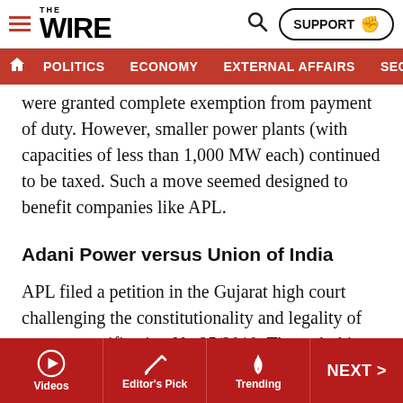THE WIRE — Navigation bar with POLITICS, ECONOMY, EXTERNAL AFFAIRS, SECU...
were granted complete exemption from payment of duty. However, smaller power plants (with capacities of less than 1,000 MW each) continued to be taxed. Such a move seemed designed to benefit companies like APL.
Adani Power versus Union of India
APL filed a petition in the Gujarat high court challenging the constitutionality and legality of customs notification No 25/2010. Through this notification, the government sought to levy customs duty against electrical energy removed from the SEZ to the DTA and/or to "non-processing" areas of the SEZ at a rate of 16% ad valorem. This duty was to
Videos | Editor's Pick | Trending | NEXT >